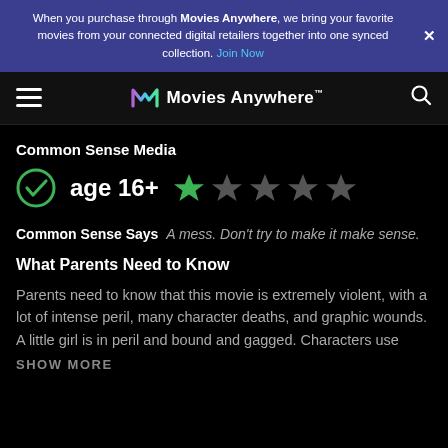When you purchase through Movies Anywhere, we bring your favorite movies from your connected digital retailers together into one synced collection. Join Now
[Figure (logo): Movies Anywhere logo with stylized M icon and wordmark]
Common Sense Media
[Figure (infographic): Green checkmark circle icon, age 16+ label, one green star and four grey stars rating]
Common Sense Says  A mess. Don't try to make it make sense.
What Parents Need to Know
Parents need to know that this movie is extremely violent, with a lot of intense peril, many character deaths, and graphic wounds. A little girl is in peril and bound and gagged. Characters use
SHOW MORE